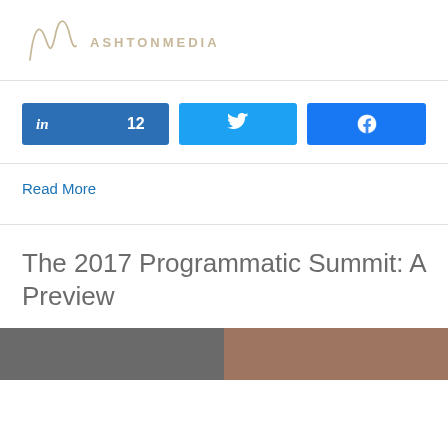[Figure (logo): Ashton Media logo with stylized Am monogram and text ASHTONMEDIA]
[Figure (infographic): Social sharing buttons: LinkedIn with count 12, Twitter bird icon, Facebook f icon]
Read More
The 2017 Programmatic Summit: A Preview
[Figure (photo): Thumbnail strip showing two partial portrait photos side by side]